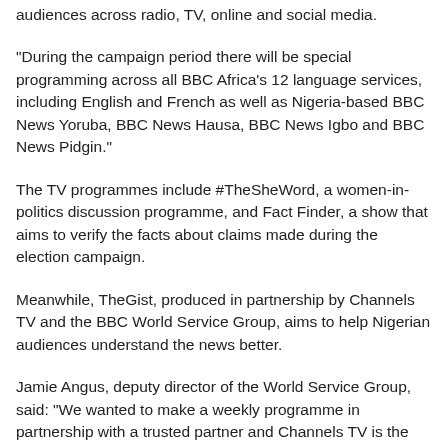audiences across radio, TV, online and social media.
“During the campaign period there will be special programming across all BBC Africa’s 12 language services, including English and French as well as Nigeria-based BBC News Yoruba, BBC News Hausa, BBC News Igbo and BBC News Pidgin.”
The TV programmes include #TheSheWord, a women-in-politics discussion programme, and Fact Finder, a show that aims to verify the facts about claims made during the election campaign.
Meanwhile, TheGist, produced in partnership by Channels TV and the BBC World Service Group, aims to help Nigerian audiences understand the news better.
Jamie Angus, deputy director of the World Service Group, said: “We wanted to make a weekly programme in partnership with a trusted partner and Channels TV is the right partner; they have great coverage.
“The weekly half-hour show will help people understand issues behind the competition, i.e. to be aware of international…